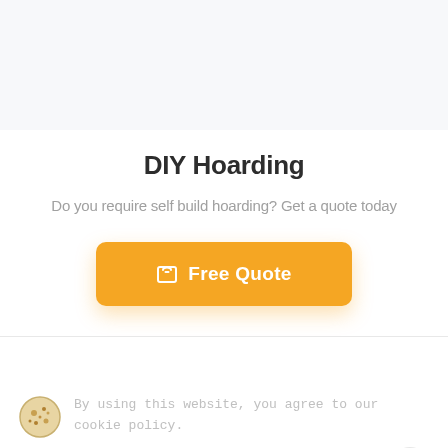DIY Hoarding
Do you require self build hoarding? Get a quote today
[Figure (other): Orange button with shopping bag icon and text 'Free Quote']
By using this website, you agree to our cookie policy.
Quick Links